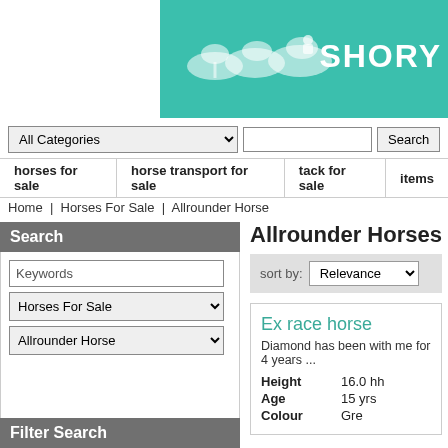[Figure (logo): Shorya website banner with teal background, white horse silhouettes and brand name SHORY partially visible]
All Categories [dropdown] [text input] Search
horses for sale | horse transport for sale | tack for sale | items
Home | Horses For Sale | Allrounder Horse
Search
Keywords [text input]
Horses For Sale [dropdown]
Allrounder Horse [dropdown]
ADVANCED SEARCH
Filter Search
Allrounder Horses Fo...
sort by: Relevance
Ex race horse
Diamond has been with me for 4 years ...
| Field | Value |
| --- | --- |
| Height | 16.0 hh |
| Age | 15 yrs |
| Colour | Grey |